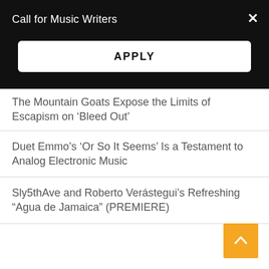Call for Music Writers
APPLY
The Mountain Goats Expose the Limits of Escapism on ‘Bleed Out’
Duet Emmo’s ‘Or So It Seems’ Is a Testament to Analog Electronic Music
Sly5thAve and Roberto Verástegui’s Refreshing “Agua de Jamaica” (PREMIERE)